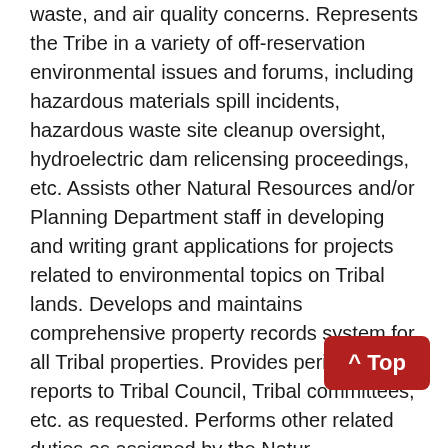waste, and air quality concerns. Represents the Tribe in a variety of off-reservation environmental issues and forums, including hazardous materials spill incidents, hazardous waste site cleanup oversight, hydroelectric dam relicensing proceedings, etc. Assists other Natural Resources and/or Planning Department staff in developing and writing grant applications for projects related to environmental topics on Tribal lands. Develops and maintains comprehensive property records system for all Tribal properties. Provides periodic reports to Tribal Council, Tribal committees, etc. as requested. Performs other related duties as assigned by the Natural Resources Manager.
All new employees will serve a six-month